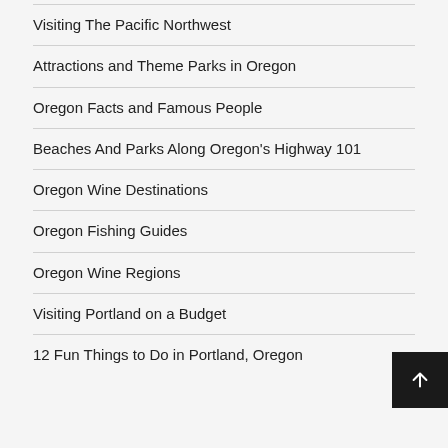Visiting The Pacific Northwest
Attractions and Theme Parks in Oregon
Oregon Facts and Famous People
Beaches And Parks Along Oregon's Highway 101
Oregon Wine Destinations
Oregon Fishing Guides
Oregon Wine Regions
Visiting Portland on a Budget
12 Fun Things to Do in Portland, Oregon